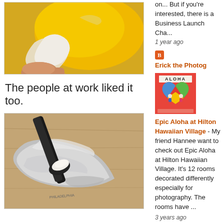[Figure (photo): Close-up photo of hands peeling or squeezing a yellow fruit (possibly mango or citrus) with a white cloth/tissue]
The people at work liked it too.
[Figure (photo): Photo of a black utensil/scoop with white cream or butter being scooped from an open foil/metallic package on a wooden surface]
on... But if you're interested, there is a Business Launch Cha...
1 year ago
Erick the Photog
[Figure (photo): Thumbnail image: ALOHA book cover with colorful illustrated characters on a red/coral background]
Epic Aloha at Hilton Hawaiian Village - My friend Hannee want to check out Epic Aloha at Hilton Hawaiian Village. It's 12 rooms decorated differently especially for photography. The rooms have ...
3 years ago